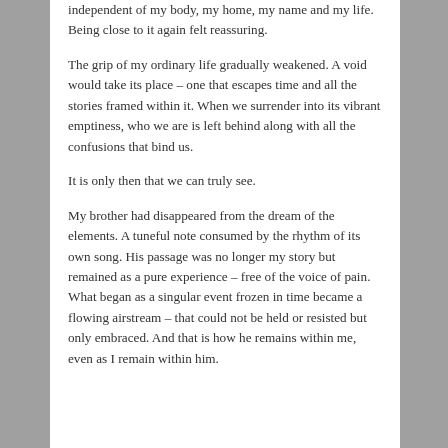independent of my body, my home, my name and my life. Being close to it again felt reassuring.
The grip of my ordinary life gradually weakened. A void would take its place – one that escapes time and all the stories framed within it. When we surrender into its vibrant emptiness, who we are is left behind along with all the confusions that bind us.
It is only then that we can truly see.
My brother had disappeared from the dream of the elements. A tuneful note consumed by the rhythm of its own song. His passage was no longer my story but remained as a pure experience – free of the voice of pain. What began as a singular event frozen in time became a flowing airstream – that could not be held or resisted but only embraced. And that is how he remains within me, even as I remain within him.